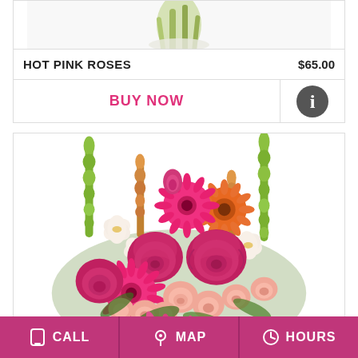[Figure (photo): Partial top of a flower product image (green stems/vase visible at top)]
HOT PINK ROSES    $65.00
BUY NOW
[Figure (photo): Flower bouquet with hot pink roses, gerbera daisies, peach spray roses, white alstroemeria, and green snapdragons in a white vase]
CALL   MAP   HOURS